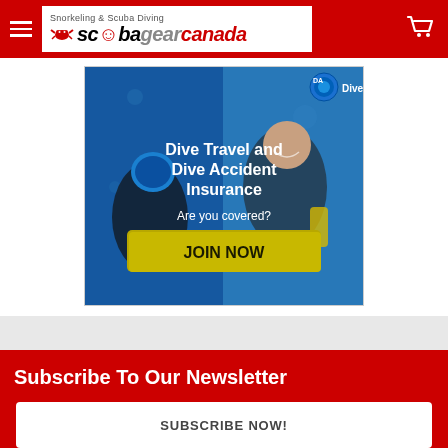Scuba Gear Canada – Snorkeling & Scuba Diving
[Figure (infographic): DiveAssure advertisement banner showing scuba divers underwater with text: 'DiveAssure – Dive Travel and Dive Accident Insurance – Are you covered? JOIN NOW' with a yellow JOIN NOW button.]
Subscribe To Our Newsletter
SUBSCRIBE NOW!